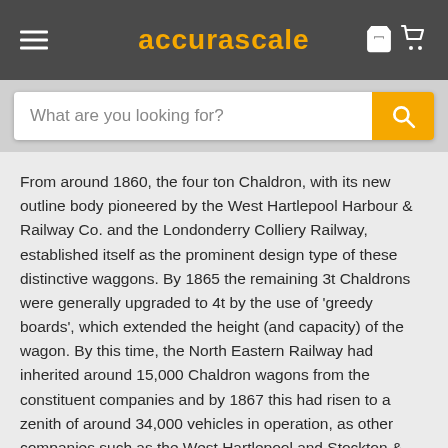accurascale
What are you looking for?
From around 1860, the four ton Chaldron, with its new outline body pioneered by the West Hartlepool Harbour & Railway Co. and the Londonderry Colliery Railway, established itself as the prominent design type of these distinctive waggons. By 1865 the remaining 3t Chaldrons were generally upgraded to 4t by the use of 'greedy boards', which extended the height (and capacity) of the wagon. By this time, the North Eastern Railway had inherited around 15,000 Chaldron wagons from the constituent companies and by 1867 this had risen to a zenith of around 34,000 vehicles in operation, as other companies such as the West Hartlepool and Stockton & Darlington were absorbed into the NER. Despite their wide spread use the Chaldrons were, for a mainline concern, a poor design; requiring a high degree of maintenance and having a